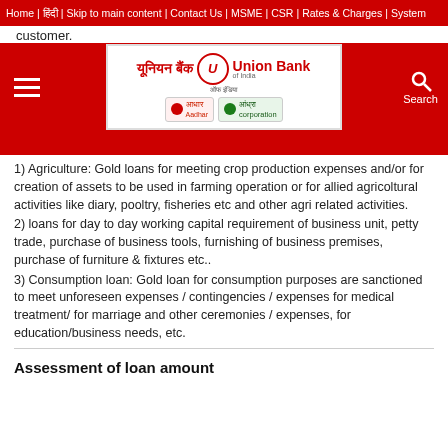Home | हिंदी | Skip to main content | Contact Us | MSME | CSR | Rates & Charges | System
[Figure (logo): Union Bank of India logo with Hindi and English text, and two sub-brand badges]
customer.
(partial heading visible)
1) Agriculture: Gold loans for meeting crop production expenses and/or for creation of assets to be used in farming operation or for allied agricoltural activities like diary, pooltry, fisheries etc and other agri related activities.
2) loans for day to day working capital requirement of business unit, petty trade, purchase of business tools, furnishing of business premises, purchase of furniture & fixtures etc..
3) Consumption loan: Gold loan for consumption purposes are sanctioned to meet unforeseen expenses / contingencies / expenses for medical treatment/ for marriage and other ceremonies / expenses, for education/business needs, etc.
Assessment of loan amount